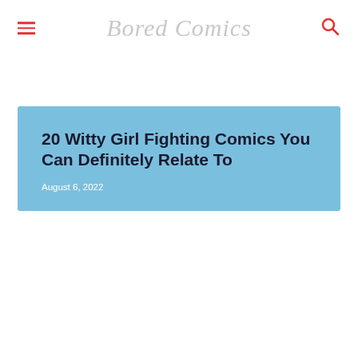Bored Comics
20 Witty Girl Fighting Comics You Can Definitely Relate To
August 6, 2022